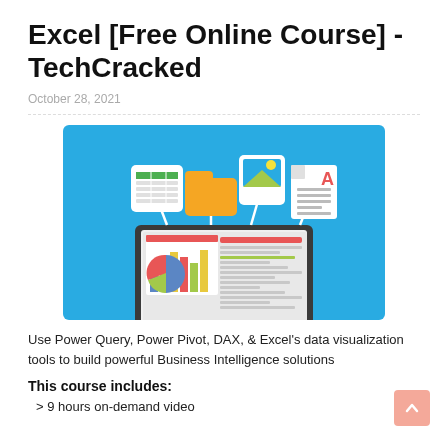Excel [Free Online Course] - TechCracked
October 28, 2021
[Figure (illustration): Illustration of a laptop with data visualization dashboards (bar chart, pie chart) on screen, connected to icons representing a spreadsheet, folder, photo, and document, on a blue background.]
Use Power Query, Power Pivot, DAX, & Excel's data visualization tools to build powerful Business Intelligence solutions
This course includes:
> 9 hours on-demand video